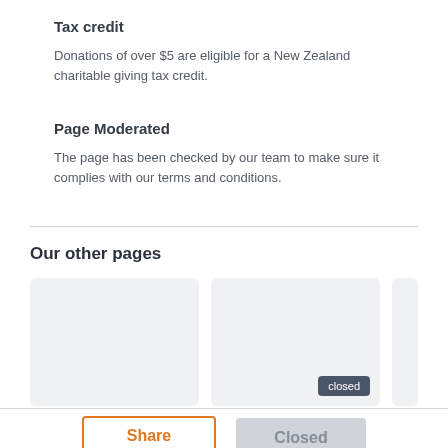Tax credit
Donations of over $5 are eligible for a New Zealand charitable giving tax credit.
Page Moderated
The page has been checked by our team to make sure it complies with our terms and conditions.
Our other pages
[Figure (other): Two placeholder card panels for other pages, the second with a 'closed' badge]
Share
Closed